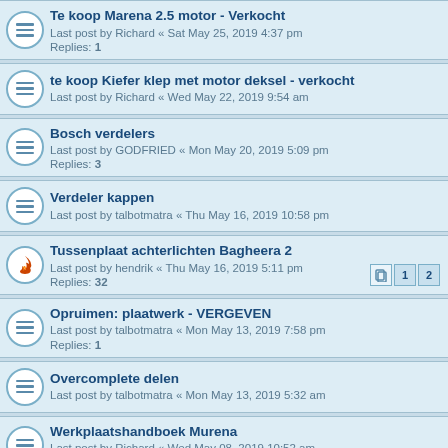Te koop Marena 2.5 motor - Verkocht
Last post by Richard « Sat May 25, 2019 4:37 pm
Replies: 1
te koop Kiefer klep met motor deksel - verkocht
Last post by Richard « Wed May 22, 2019 9:54 am
Bosch verdelers
Last post by GODFRIED « Mon May 20, 2019 5:09 pm
Replies: 3
Verdeler kappen
Last post by talbotmatra « Thu May 16, 2019 10:58 pm
Tussenplaat achterlichten Bagheera 2
Last post by hendrik « Thu May 16, 2019 5:11 pm
Replies: 32
Opruimen: plaatwerk - VERGEVEN
Last post by talbotmatra « Mon May 13, 2019 7:58 pm
Replies: 1
Overcomplete delen
Last post by talbotmatra « Mon May 13, 2019 5:32 am
Werkplaatshandboek Murena
Last post by Richard « Wed May 08, 2019 10:52 am
Replies: 2
Tweemaal Weber 36 DCNF
Last post by talbotmatra « Mon May 06, 2019 11:13 am
Restauratie-spit te koop
Last post by GODFRIED « Sun Apr 28, 2019 9:05 am
Replies: 2